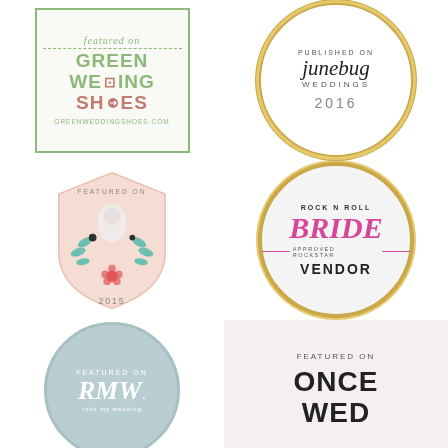[Figure (logo): Green Wedding Shoes 'featured on' badge with green border and dotted underline, greenweddingshoes.com]
[Figure (logo): Junebug Weddings 'Published On' circular gold border badge, 2016]
[Figure (logo): Shield shaped badge 'Featured On' with bride silhouette and floral, 2015]
[Figure (logo): Rock N Roll Bride circular gold badge - Approved Rockstar Vendor]
[Figure (logo): RMW (Rock My Wedding) circular teal badge - Featured On]
[Figure (logo): Once Wed 'Featured On' badge on pink background]